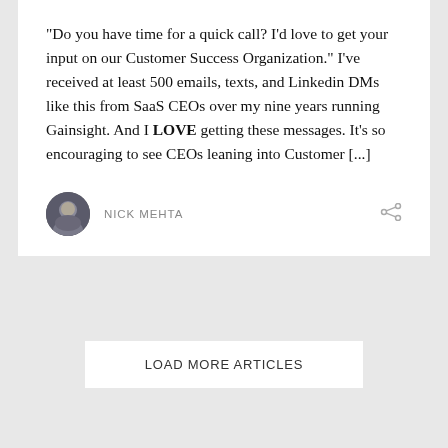“Do you have time for a quick call? I’d love to get your input on our Customer Success Organization.” I’ve received at least 500 emails, texts, and Linkedin DMs like this from SaaS CEOs over my nine years running Gainsight. And I LOVE getting these messages. It’s so encouraging to see CEOs leaning into Customer [...]
NICK MEHTA
LOAD MORE ARTICLES